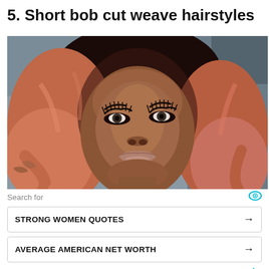5. Short bob cut weave hairstyles
[Figure (photo): Close-up photo of a woman with a short bob cut weave hairstyle, featuring rose-gold/pink ombre wavy hair, dramatic eye makeup with long lashes, and full lips. She is looking directly at the camera.]
Search for
STRONG WOMEN QUOTES →
AVERAGE AMERICAN NET WORTH →